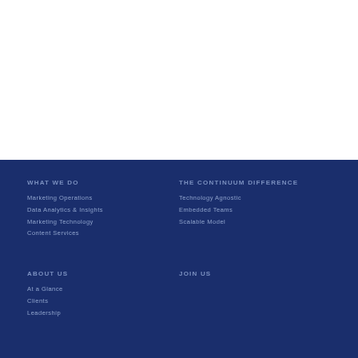WHAT WE DO
Marketing Operations
Data Analytics & Insights
Marketing Technology
Content Services
THE CONTINUUM DIFFERENCE
Technology Agnostic
Embedded Teams
Scalable Model
ABOUT US
At a Glance
Clients
Leadership
JOIN US